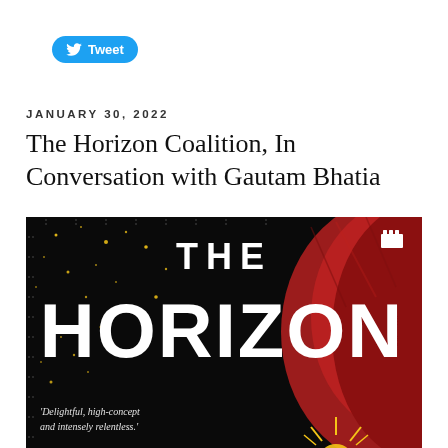[Figure (other): Twitter Tweet button with bird logo in blue pill shape]
JANUARY 30, 2022
The Horizon Coalition, In Conversation with Gautam Bhatia
[Figure (illustration): Book cover of 'The Horizon' showing title text in large white bold letters over dark starry background with red fabric silhouette on right side, small publisher icon top right, sun rays bottom right, and quote 'Delightful, high-concept and intensely relentless.']